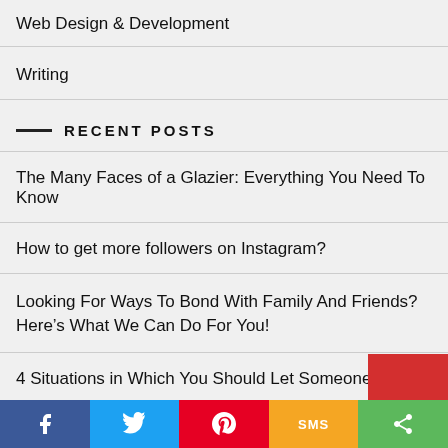Web Design & Development
Writing
RECENT POSTS
The Many Faces of a Glazier: Everything You Need To Know
How to get more followers on Instagram?
Looking For Ways To Bond With Family And Friends? Here's What We Can Do For You!
4 Situations in Which You Should Let Someone Else Ru…